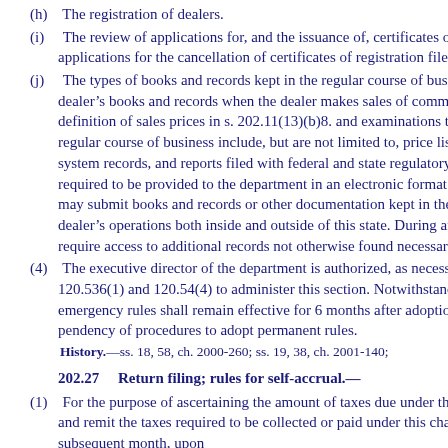(h)    The registration of dealers.
(i)    The review of applications for, and the issuance of, certificates of registration and the processing of applications for the cancellation of certificates of registration filed by holders thereof.
(j)    The types of books and records kept in the regular course of business by dealers and the audit of a dealer's books and records when the dealer makes sales of communications services that include the definition of sales prices in s. 202.11(13)(b)8. and examinations thereof. Books and records kept in the regular course of business include, but are not limited to, price lists, cost records, customer billings, billing system records, and reports filed with federal and state regulatory authorities. Such records may be required to be provided to the department in an electronic format when so kept by the dealer. The dealer may submit books and records or other documentation kept in the regular course of business covering the dealer's operations both inside and outside of this state. During an audit, the department may reasonably require access to additional records not otherwise found necessary to assist in its determination.
(4)    The executive director of the department is authorized, as necessary, to adopt emergency rules under ss. 120.536(1) and 120.54(4) to administer this section. Notwithstanding any other provision of law, such emergency rules shall remain effective for 6 months after adoption and may be renewed during the pendency of procedures to adopt permanent rules.
History.—ss. 18, 58, ch. 2000-260; ss. 19, 38, ch. 2001-140;
202.27    Return filing; rules for self-accrual.—
(1)    For the purpose of ascertaining the amount of taxes due under this chapter, each dealer must file a return and remit the taxes required to be collected or paid under this chapter on or before the 20th day of the subsequent month, upon